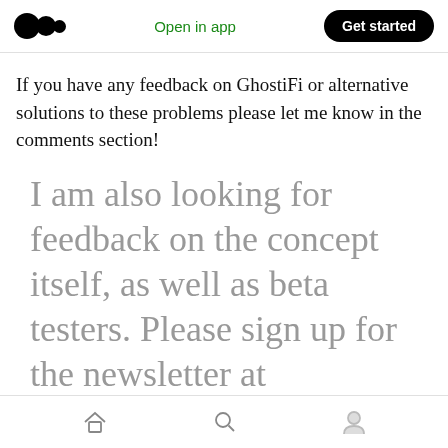Open in app | Get started
If you have any feedback on GhostiFi or alternative solutions to these problems please let me know in the comments section!
I am also looking for feedback on the concept itself, as well as beta testers. Please sign up for the newsletter at https://ghostifi.net if you are interested
Home | Search | Profile